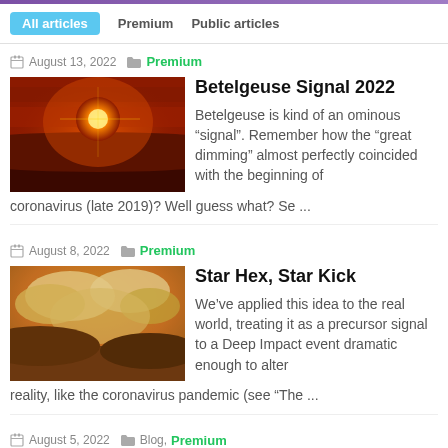All articles  Premium  Public articles
August 13, 2022  Premium
Betelgeuse Signal 2022
Betelgeuse is kind of an ominous “signal”. Remember how the “great dimming” almost perfectly coincided with the beginning of coronavirus (late 2019)? Well guess what? Se ...
August 8, 2022  Premium
Star Hex, Star Kick
We’ve applied this idea to the real world, treating it as a precursor signal to a Deep Impact event dramatic enough to alter reality, like the coronavirus pandemic (see “The ...
August 5, 2022  Blog, Premium